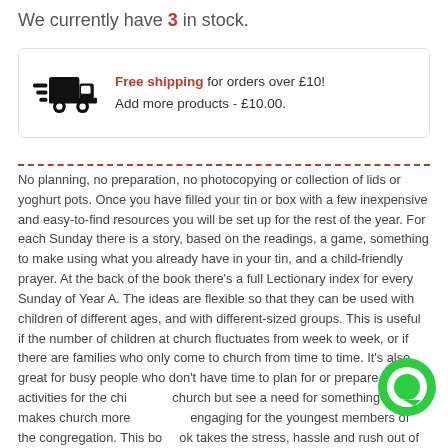We currently have 3 in stock.
Free shipping for orders over £10! Add more products - £10.00.
No planning, no preparation, no photocopying or collection of lids or yoghurt pots. Once you have filled your tin or box with a few inexpensive and easy-to-find resources you will be set up for the rest of the year. For each Sunday there is a story, based on the readings, a game, something to make using what you already have in your tin, and a child-friendly prayer. At the back of the book there's a full Lectionary index for every Sunday of Year A. The ideas are flexible so that they can be used with children of different ages, and with different-sized groups. This is useful if the number of children at church fluctuates from week to week, or if there are families who only come to church from time to time. It's also great for busy people who don't have time to plan for or prepare activities for the children in church but see a need for something that makes church more engaging for the youngest members of the congregation. This book takes the stress, hassle and rush out of preparing activities for the children in